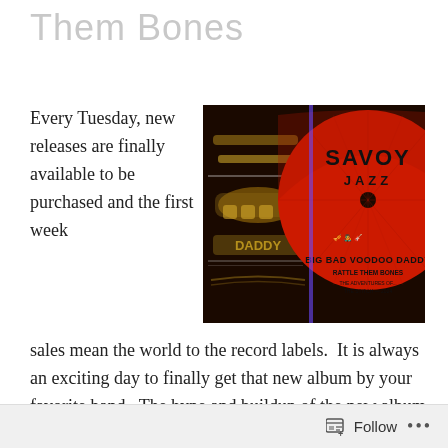Them Bones
Every Tuesday, new releases are finally available to be purchased and the first week sales mean the world to the record labels.  It is always an exciting day to finally get that new album by your favorite band.  The hype and buildup of the new album has been going on for months.  Tuesday can't come
[Figure (photo): Photograph of a vinyl record album cover for Big Bad Voodoo Daddy 'Rattle Them Bones' on Savoy Jazz label, showing the decorative dark album sleeve on the left and the red Savoy Jazz record label on the right.]
Follow ...